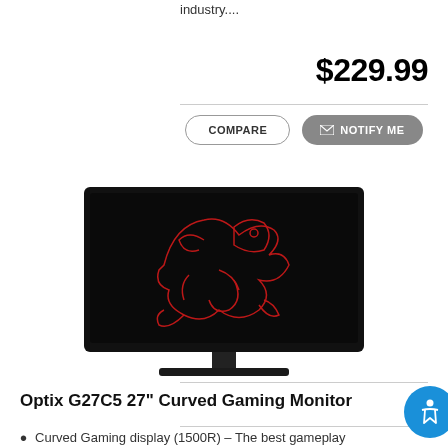industry....
$229.99
COMPARE | NOTIFY ME
[Figure (photo): MSI Optix G27C5 27-inch curved gaming monitor displayed with a red dragon logo on its black screen, shown from the front on a stand]
Optix G27C5 27" Curved Gaming Monitor
Curved Gaming display (1500R) – The best gameplay